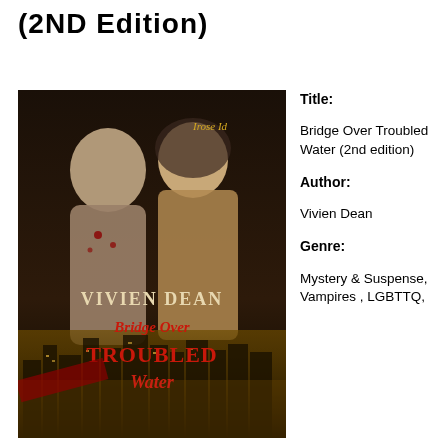(2ND EDITION)
[Figure (photo): Book cover of 'Bridge Over Troubled Water' by Vivien Dean (2nd edition). Dark cover showing two shirtless male figures, one blonde and one darker with a hood, with a cityscape at night below. Title text in red/gold lettering.]
Title: Bridge Over Troubled Water (2nd edition)
Author: Vivien Dean
Genre: Mystery & Suspense, Vampires , LGBTTQ,